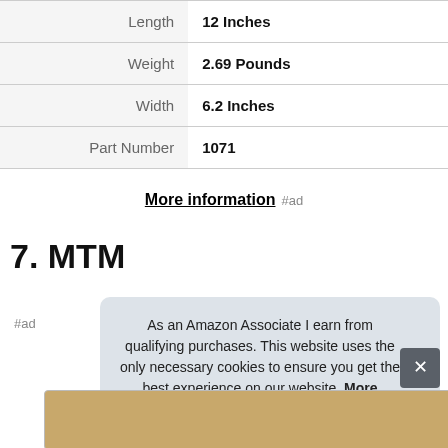| Attribute | Value |
| --- | --- |
| Length | 12 Inches |
| Weight | 2.69 Pounds |
| Width | 6.2 Inches |
| Part Number | 1071 |
More information #ad
7. MTM
As an Amazon Associate I earn from qualifying purchases. This website uses the only necessary cookies to ensure you get the best experience on our website. More information
[Figure (photo): Partially visible product image at bottom of page]